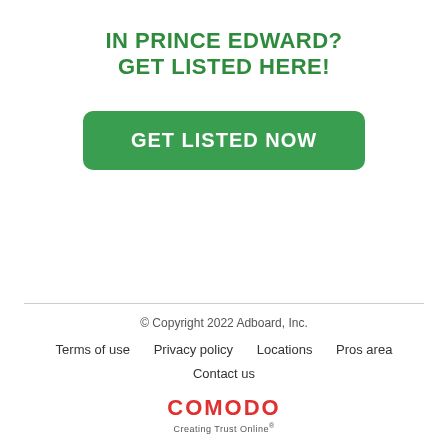IN PRINCE EDWARD?
GET LISTED HERE!
[Figure (other): GET LISTED NOW call-to-action button in green with rounded corners]
© Copyright 2022 Adboard, Inc.
Terms of use   Privacy policy   Locations   Pros area   Contact us
[Figure (logo): COMODO Creating Trust Online logo in red and grey]